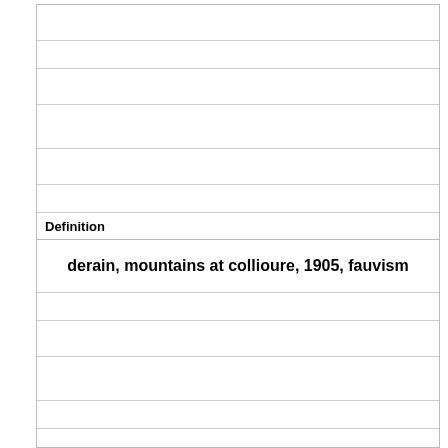Definition
derain, mountains at collioure, 1905, fauvism
Term
[image]